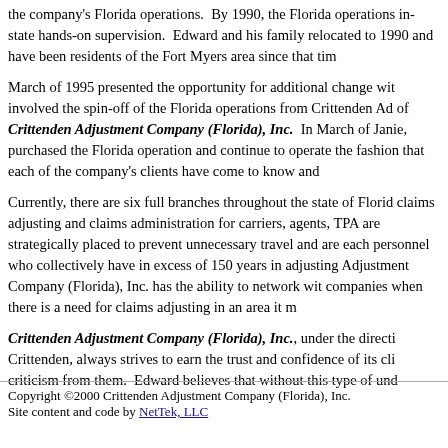the company's Florida operations.  By 1990, the Florida operations in-state hands-on supervision.  Edward and his family relocated to 1990 and have been residents of the Fort Myers area since that tim
March of 1995 presented the opportunity for additional change wit involved the spin-off of the Florida operations from Crittenden Ad of Crittenden Adjustment Company (Florida), Inc.  In March of Janie, purchased the Florida operation and continue to operate the fashion that each of the company's clients have come to know and
Currently, there are six full branches throughout the state of Florid claims adjusting and claims administration for carriers, agents, TPA are strategically placed to prevent unnecessary travel and are each personnel who collectively have in excess of 150 years in adjusting Adjustment Company (Florida), Inc. has the ability to network wit companies when there is a need for claims adjusting in an area it m
Crittenden Adjustment Company (Florida), Inc., under the directi Crittenden, always strives to earn the trust and confidence of its cli criticism from them.  Edward believes that without this type of und improvement or development whether it be at the branch or corpor
Copyright ©2000 Crittenden Adjustment Company (Florida), Inc.
Site content and code by NetTek, LLC